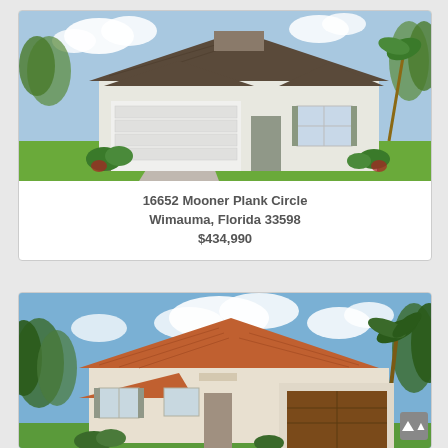[Figure (photo): Exterior rendering of a single-story home with white/grey siding, brown shingle roof with craftsman-style elements, two-car garage on left, front entry with stone accents, and tropical landscaping.]
16652 Mooner Plank Circle
Wimauma, Florida 33598
$434,990
[Figure (photo): Exterior rendering of a single-story Mediterranean-style home with tan stucco, terracotta tile roof, brown garage door on right, window shutters, and tropical landscaping with palm trees.]